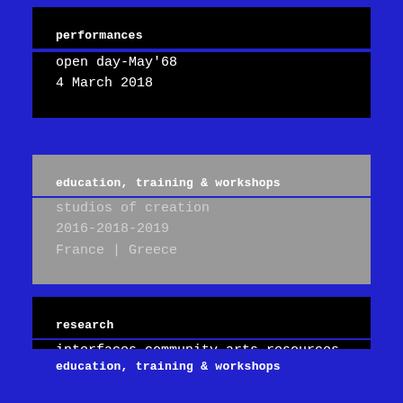performances
open day-May'68
4 March 2018
education, training & workshops
studios of creation
2016-2018-2019
France | Greece
research
interfaces community arts resources hub
2016-2019
education, training & workshops